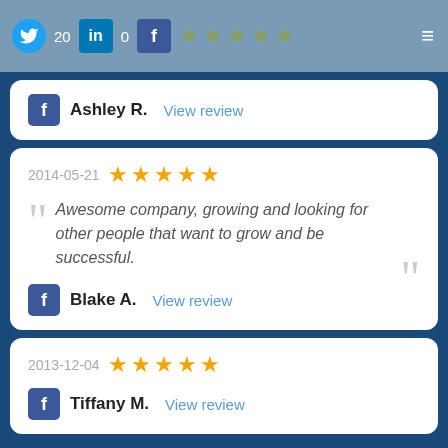Social media header with Twitter, LinkedIn, Facebook icons and 5 stars
Ashley R. View review
2014-05-21 ★★★★★
"Awesome company, growing and looking for other people that want to grow and be successful."
Blake A. View review
2013-12-04 ★★★★★
Tiffany M. View review